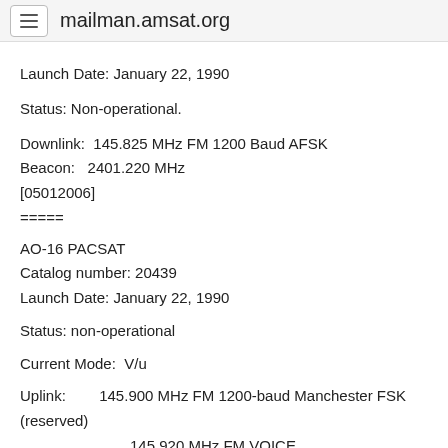mailman.amsat.org
Launch Date: January 22, 1990
Status: Non-operational.
Downlink:  145.825 MHz FM 1200 Baud AFSK
Beacon:   2401.220 MHz
[05012006]
=====
AO-16 PACSAT
Catalog number: 20439
Launch Date: January 22, 1990
Status: non-operational
Current Mode:  V/u
Uplink:        145.900 MHz FM 1200-baud Manchester FSK (reserved)
               145.920 MHz FM VOICE
               145.940 MHz FM 1200-baud Manchester FSK
(reserved)